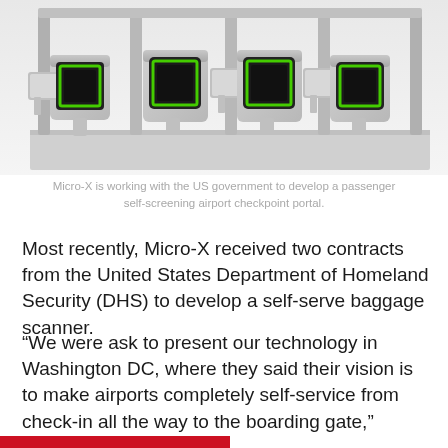[Figure (photo): A row of automated passenger self-screening airport checkpoint portals with green-lit scanners, shown in a clean white industrial setting.]
Micro-X is working with the US government to develop a passenger self-screening airport checkpoint portal.
Most recently, Micro-X received two contracts from the United States Department of Homeland Security (DHS) to develop a self-serve baggage scanner.
“We were ask to present our technology in Washington DC, where they said their vision is to make airports completely self-service from check-in all the way to the boarding gate,” Rowland said.